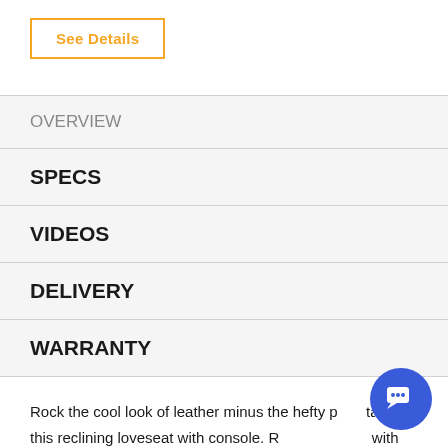See Details
OVERVIEW
SPECS
VIDEOS
DELIVERY
WARRANTY
Rock the cool look of leather minus the hefty price tag with this reclining loveseat with console. Richly textured with tonal variation, the indulgently soft upholstery sure looks like the real thing. And talk about